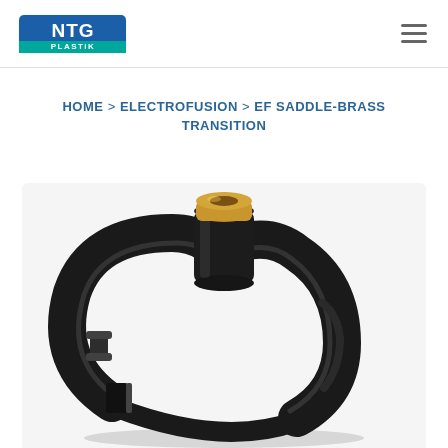NTG PLASTiK logo and navigation
HOME > ELECTROFUSION > EF SADDLE-BRASS TRANSITION
[Figure (photo): Black electrofusion saddle-brass transition fitting with brass insert on top, shown as a product photo on a white/light grey background.]